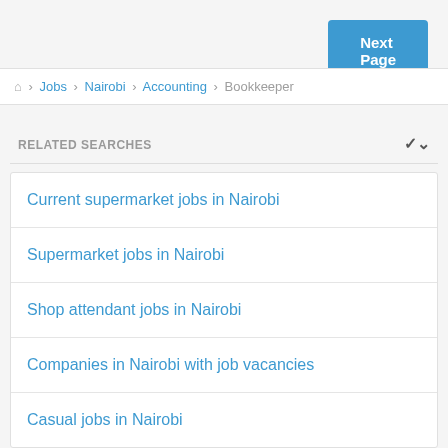Next Page >
🏠 > Jobs > Nairobi > Accounting > Bookkeeper
RELATED SEARCHES
Current supermarket jobs in Nairobi
Supermarket jobs in Nairobi
Shop attendant jobs in Nairobi
Companies in Nairobi with job vacancies
Casual jobs in Nairobi